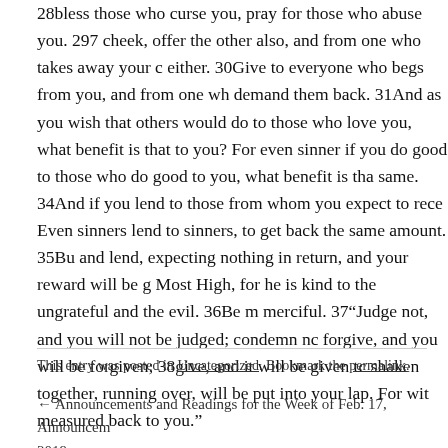28bless those who curse you, pray for those who abuse you. 29If someone strikes you on the cheek, offer the other also, and from one who takes away your cloak do not withhold your tunic either. 30Give to everyone who begs from you, and from one who takes away your goods do not demand them back. 31And as you wish that others would do to you, do so to them. 32If you love those who love you, what benefit is that to you? For even sinners love those who love them. 33And if you do good to those who do good to you, what benefit is that to you? For even sinners do the same. 34And if you lend to those from whom you expect to receive, what credit is that to you? Even sinners lend to sinners, to get back the same amount. 35But love your enemies, and do good, and lend, expecting nothing in return, and your reward will be great, and you will be sons of the Most High, for he is kind to the ungrateful and the evil. 36Be merciful, even as your Father is merciful. 37“Judge not, and you will not be judged; condemn not, and you will not be condemned; forgive, and you will be forgiven; 38give, and it will be given to you. Good measure, pressed down, shaken together, running over, will be put into your lap. For with the measure you use it will be measured back to you.”
This entry was posted in Uncategorized. Bookmark the permalink.
← Announcements and Readings for the Week of Feb. 17, 2019    Announcem…